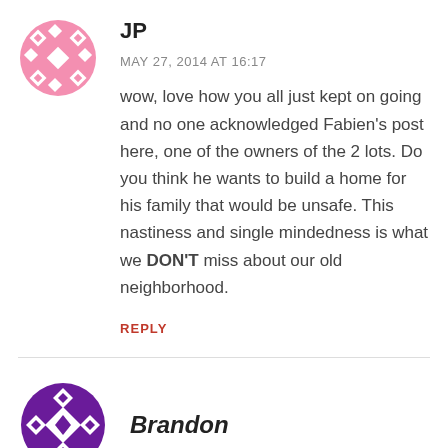[Figure (illustration): Pink geometric flower/snowflake avatar for user JP]
JP
MAY 27, 2014 AT 16:17
wow, love how you all just kept on going and no one acknowledged Fabien’s post here, one of the owners of the 2 lots. Do you think he wants to build a home for his family that would be unsafe. This nastiness and single mindedness is what we DON’T miss about our old neighborhood.
REPLY
[Figure (illustration): Purple geometric diamond pattern avatar for user Brandon]
Brandon